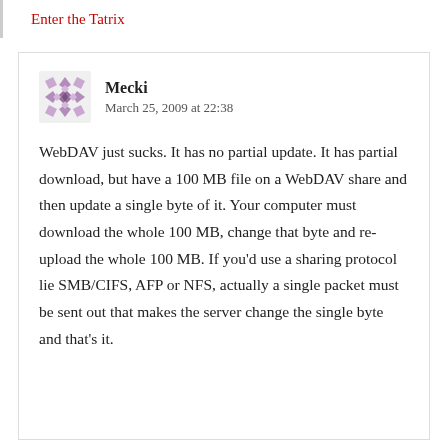Enter the Tatrix
Mecki
March 25, 2009 at 22:38
WebDAV just sucks. It has no partial update. It has partial download, but have a 100 MB file on a WebDAV share and then update a single byte of it. Your computer must download the whole 100 MB, change that byte and re-upload the whole 100 MB. If you’d use a sharing protocol lie SMB/CIFS, AFP or NFS, actually a single packet must be sent out that makes the server change the single byte and that’s it.